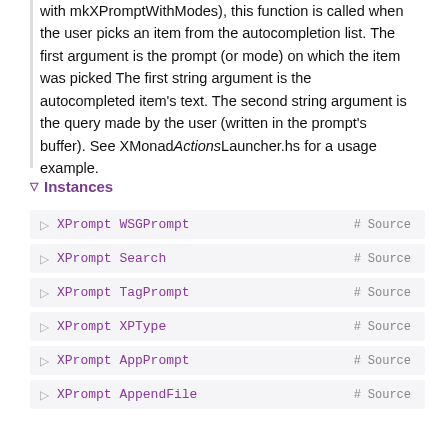with mkXPromptWithModes), this function is called when the user picks an item from the autocompletion list. The first argument is the prompt (or mode) on which the item was picked The first string argument is the autocompleted item's text. The second string argument is the query made by the user (written in the prompt's buffer). See XMonadActionsLauncher.hs for a usage example.
▽ Instances
▷ XPrompt WSGPrompt # Source
▷ XPrompt Search # Source
▷ XPrompt TagPrompt # Source
▷ XPrompt XPType # Source
▷ XPrompt AppPrompt # Source
▷ XPrompt AppendFile # Source